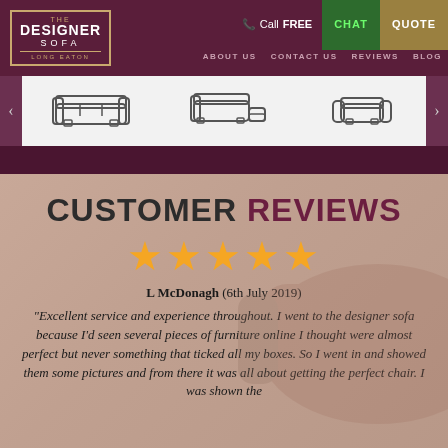THE DESIGNER SOFA LONG EATON | Call FREE | CHAT | QUOTE | ABOUT US | CONTACT US | REVIEWS | BLOG
[Figure (illustration): Three sofa/chair product category icons on a light grey strip with left and right navigation arrows]
CUSTOMER REVIEWS
[Figure (infographic): Five gold star rating icons]
L McDonagh (6th July 2019)
"Excellent service and experience throughout. I went to the designer sofa because I'd seen several pieces of furniture online I thought were almost perfect but never something that ticked all my boxes. So I went in and showed them some pictures and from there it was all about getting the perfect chair. I was shown the